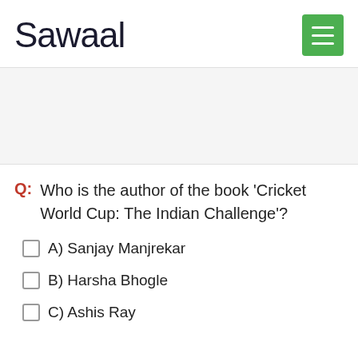Sawaal
Q: Who is the author of the book 'Cricket World Cup: The Indian Challenge'?
A) Sanjay Manjrekar
B) Harsha Bhogle
C) Ashis Ray